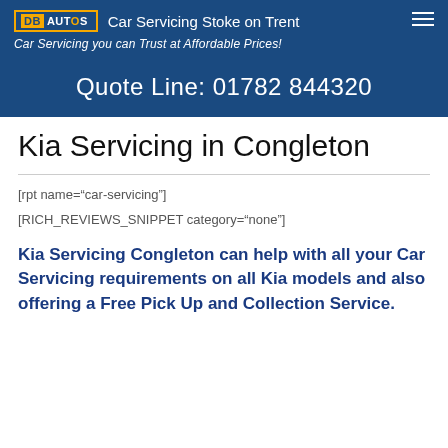DB AUTOS  Car Servicing Stoke on Trent
Car Servicing you can Trust at Affordable Prices!
Quote Line: 01782 844320
Kia Servicing in Congleton
[rpt name="car-servicing"]
[RICH_REVIEWS_SNIPPET category="none"]
Kia Servicing Congleton can help with all your Car Servicing requirements on all Kia models and also offering a Free Pick Up and Collection Service.